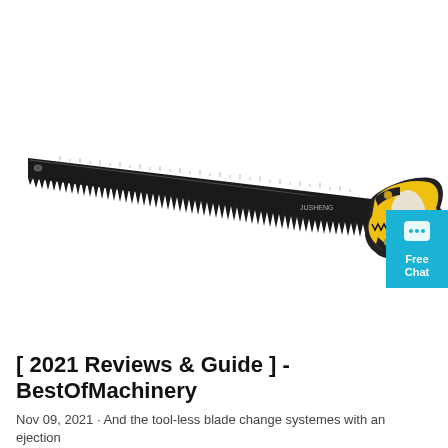[Figure (photo): A hand saw with a long dark/black blade featuring measurement markings and fine teeth along the bottom edge, and a yellow and black ergonomic handle on the right side. The saw is photographed at an angle on a white background.]
[Figure (logo): A cyan/teal colored square badge in the top right corner with a white chat bubble icon and the text 'Free Chat' in white bold letters.]
[ 2021 Reviews & Guide ] - BestOfMachinery
Nov 09, 2021 · And the tool-less blade change systemes with an ejection